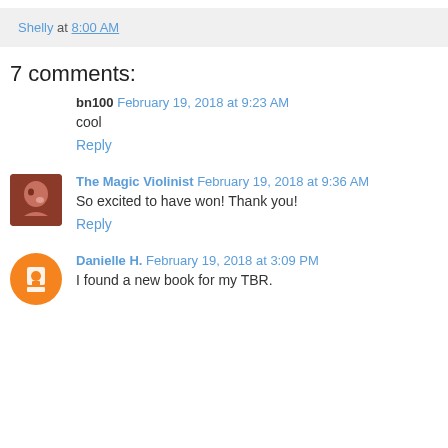Shelly at 8:00 AM
7 comments:
bn100 February 19, 2018 at 9:23 AM
cool
Reply
The Magic Violinist February 19, 2018 at 9:36 AM
So excited to have won! Thank you!
Reply
Danielle H. February 19, 2018 at 3:09 PM
I found a new book for my TBR.